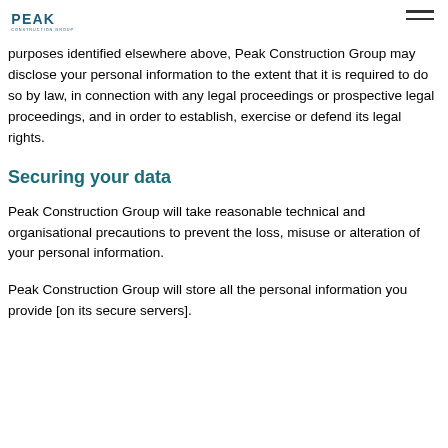Peak Construction Group
purposes identified elsewhere above, Peak Construction Group may disclose your personal information to the extent that it is required to do so by law, in connection with any legal proceedings or prospective legal proceedings, and in order to establish, exercise or defend its legal rights.
Securing your data
Peak Construction Group will take reasonable technical and organisational precautions to prevent the loss, misuse or alteration of your personal information.
Peak Construction Group will store all the personal information you provide [on its secure servers].